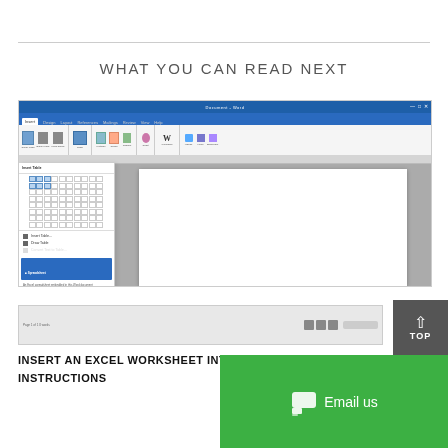WHAT YOU CAN READ NEXT
[Figure (screenshot): Microsoft Word interface showing the Insert tab ribbon with table insertion options open, displaying a grid for selecting table size and menu options below including Insert Table, Draw Table, and Convert Text to Table.]
[Figure (screenshot): Bottom portion of a Microsoft Word application window showing the status bar and scroll controls.]
INSERT AN EXCEL WORKSHEET INTO A WORD DOCUMENT INSTRUCTIONS